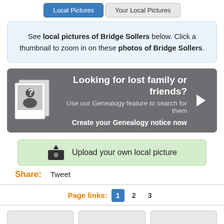[Figure (screenshot): Tab bar with two buttons: 'Local Pictures' (active, blue) and 'Your Local Pictures' (inactive, grey)]
See local pictures of Bridge Sollers below. Click a thumbnail to zoom in on these photos of Bridge Sollers.
[Figure (infographic): Grey banner: 'Looking for lost family or friends? Use our Genealogy feature to search for them. Create your Genealogy notice now' with polaroid-style question mark photo and arrow button]
[Figure (screenshot): Green 'Upload your own local picture' button with camera icon]
Share: Tweet
Page links: 1 2 3